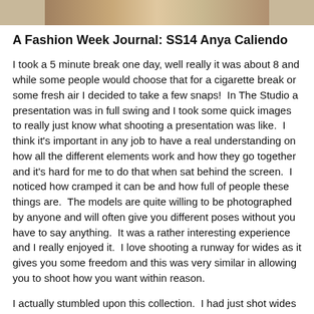[Figure (photo): Partial view of a fashion presentation photo strip at the top of the page]
A Fashion Week Journal: SS14 Anya Caliendo
I took a 5 minute break one day, well really it was about 8 and while some people would choose that for a cigarette break or some fresh air I decided to take a few snaps!  In The Studio a presentation was in full swing and I took some quick images to really just know what shooting a presentation was like.  I think it's important in any job to have a real understanding on how all the different elements work and how they go together and it's hard for me to do that when sat behind the screen.  I noticed how cramped it can be and how full of people these things are.  The models are quite willing to be photographed by anyone and will often give you different poses without you have to say anything.  It was a rather interesting experience and I really enjoyed it.  I love shooting a runway for wides as it gives you some freedom and this was very similar in allowing you to shoot how you want within reason.
I actually stumbled upon this collection.  I had just shot wides